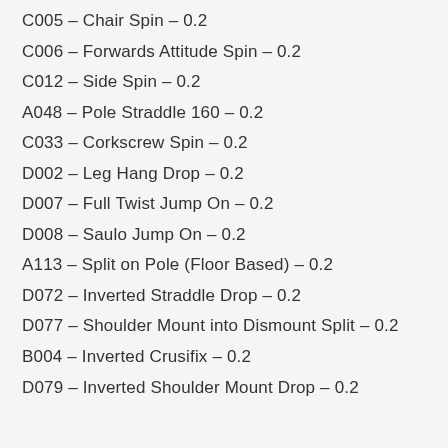C005 – Chair Spin – 0.2
C006 – Forwards Attitude Spin – 0.2
C012 – Side Spin – 0.2
A048 – Pole Straddle 160 – 0.2
C033 – Corkscrew Spin – 0.2
D002 – Leg Hang Drop – 0.2
D007 – Full Twist Jump On – 0.2
D008 – Saulo Jump On – 0.2
A113 – Split on Pole (Floor Based) – 0.2
D072 – Inverted Straddle Drop – 0.2
D077 – Shoulder Mount into Dismount Split – 0.2
B004 – Inverted Crusifix – 0.2
D079 – Inverted Shoulder Mount Drop – 0.2